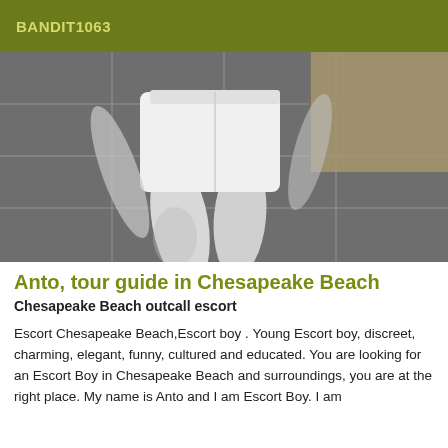BANDIT1063
[Figure (photo): Black and white photo of a person's lower body wearing white shorts, walking on dark tiled floor]
Anto, tour guide in Chesapeake Beach
Chesapeake Beach outcall escort
Escort Chesapeake Beach,Escort boy . Young Escort boy, discreet, charming, elegant, funny, cultured and educated. You are looking for an Escort Boy in Chesapeake Beach and surroundings, you are at the right place. My name is Anto and I am Escort Boy. I am